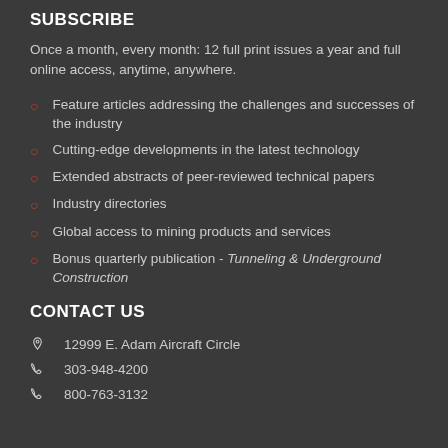SUBSCRIBE
Once a month, every month: 12 full print issues a year and full online access, anytime, anywhere.
Feature articles addressing the challenges and successes of the industry
Cutting-edge developments in the latest technology
Extended abstracts of peer-reviewed technical papers
Industry directories
Global access to mining products and services
Bonus quarterly publication - Tunneling & Underground Construction
CONTACT US
12999 E. Adam Aircraft Circle
303-948-4200
800-763-3132